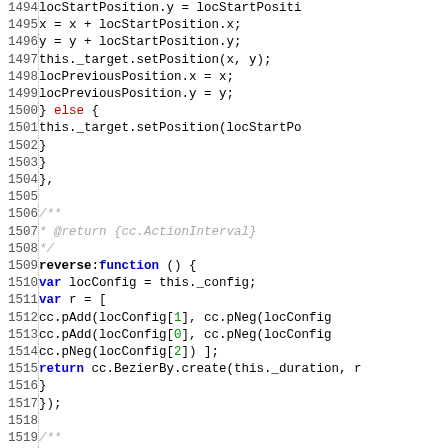[Figure (screenshot): Source code listing lines 1494-1523 showing JavaScript code with line numbers, including position manipulation, reverse function, and JSDoc comments.]